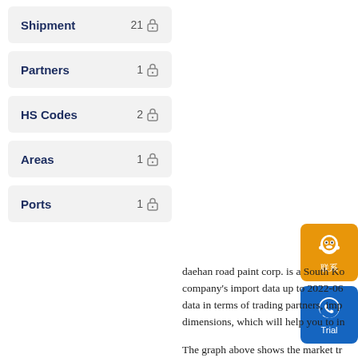Shipment  21 🔒
Partners  1 🔒
HS Codes  2 🔒
Areas  1 🔒
Ports  1 🔒
[Figure (illustration): Orange rounded button with QQ messenger icon and Chinese characters below]
[Figure (illustration): Blue rounded button with WhatsApp icon and 'Trial' text below]
daehan road paint corp. is a South Ko company's import data up to 2022-06 data in terms of trading partners, imp dimensions, which will help you to in
The graph above shows the market tr to understand the current supply cycl dimensions such as quantity, weight,